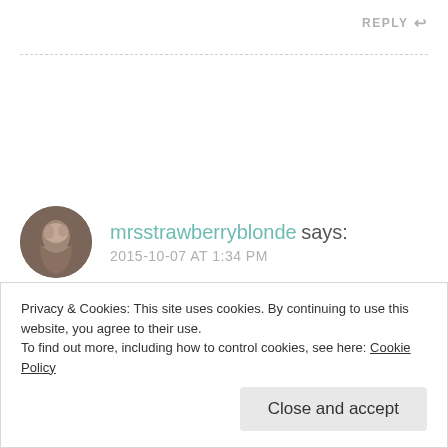REPLY ↩
[Figure (photo): Circular avatar photo of user mrsstrawberryblonde, showing a person with light-colored hair, displayed as a round profile image.]
mrsstrawberryblonde says:
2015-10-07 AT 1:34 PM
Wow! THAT's a flashy colour. Love it! And what a bargain!
Privacy & Cookies: This site uses cookies. By continuing to use this website, you agree to their use.
To find out more, including how to control cookies, see here: Cookie Policy
Close and accept